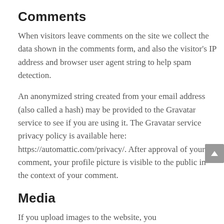Comments
When visitors leave comments on the site we collect the data shown in the comments form, and also the visitor's IP address and browser user agent string to help spam detection.
An anonymized string created from your email address (also called a hash) may be provided to the Gravatar service to see if you are using it. The Gravatar service privacy policy is available here: https://automattic.com/privacy/. After approval of your comment, your profile picture is visible to the public in the context of your comment.
Media
If you upload images to the website, you